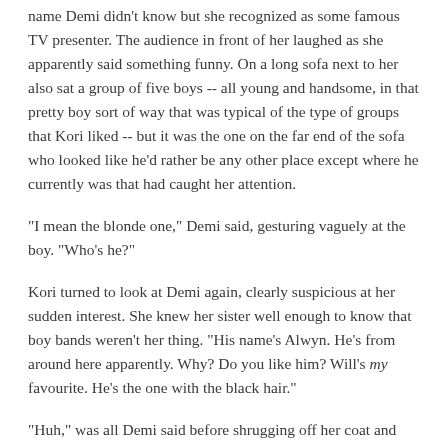name Demi didn't know but she recognized as some famous TV presenter. The audience in front of her laughed as she apparently said something funny. On a long sofa next to her also sat a group of five boys -- all young and handsome, in that pretty boy sort of way that was typical of the type of groups that Kori liked -- but it was the one on the far end of the sofa who looked like he'd rather be any other place except where he currently was that had caught her attention.
"I mean the blonde one," Demi said, gesturing vaguely at the boy. "Who's he?"
Kori turned to look at Demi again, clearly suspicious at her sudden interest. She knew her sister well enough to know that boy bands weren't her thing. "His name's Alwyn. He's from around here apparently. Why? Do you like him? Will's my favourite. He's the one with the black hair."
"Huh," was all Demi said before shrugging off her coat and bag, then crouching down to join her sister where she was perched on the floor. They'd watched the remainder of the programme together, Kori occasionally filling Demi in on little tidbits about the